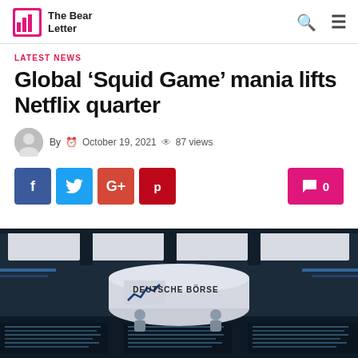The Bear Letter
LATEST NEWS
Global ‘Squid Game’ mania lifts Netflix quarter
By  © October 19, 2021  © 87 views
[Figure (screenshot): Social share buttons: Facebook (blue), Twitter (light blue), Google+ (red-orange), Pinterest (red), and a pink comment button showing 0 comments]
[Figure (photo): Interior of Deutsche Börse trading floor with circular counter displaying company name and stock chart logo, surrounded by trading screens and ceiling panel lights]